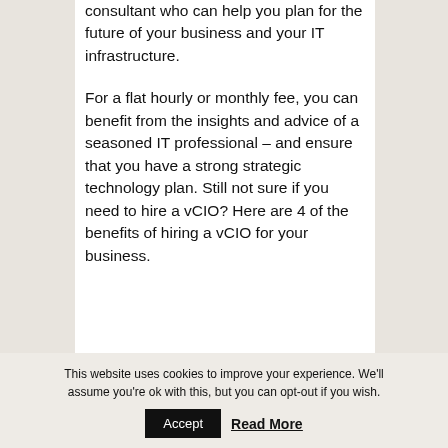consultant who can help you plan for the future of your business and your IT infrastructure.
For a flat hourly or monthly fee, you can benefit from the insights and advice of a seasoned IT professional – and ensure that you have a strong strategic technology plan. Still not sure if you need to hire a vCIO? Here are 4 of the benefits of hiring a vCIO for your business.
This website uses cookies to improve your experience. We'll assume you're ok with this, but you can opt-out if you wish.